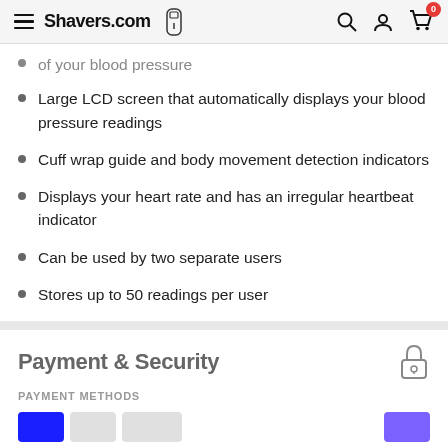Shavers.com
of your blood pressure
Large LCD screen that automatically displays your blood pressure readings
Cuff wrap guide and body movement detection indicators
Displays your heart rate and has an irregular heartbeat indicator
Can be used by two separate users
Stores up to 50 readings per user
Payment & Security
PAYMENT METHODS